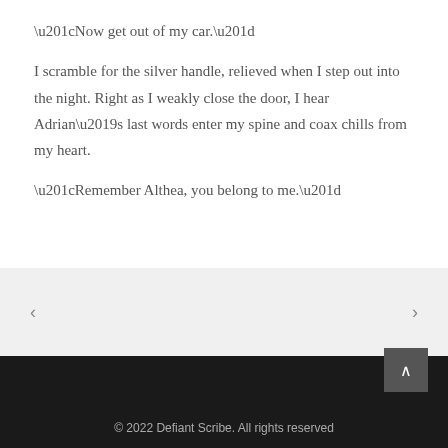“Now get out of my car.”
I scramble for the silver handle, relieved when I step out into the night. Right as I weakly close the door, I hear Adrian’s last words enter my spine and coax chills from my heart.
“Remember Althea, you belong to me.”
© 2022 Defiant Scribe. All rights reserved